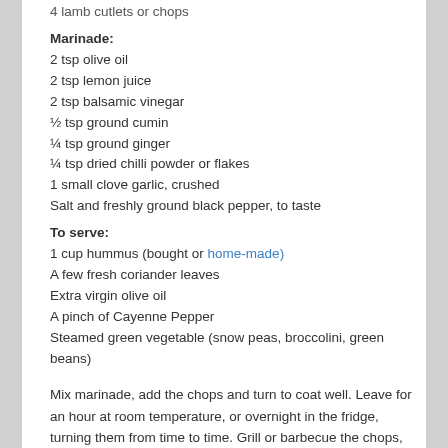4 lamb cutlets or chops
Marinade:
2 tsp olive oil
2 tsp lemon juice
2 tsp balsamic vinegar
½ tsp ground cumin
¼ tsp ground ginger
¼ tsp dried chilli powder or flakes
1 small clove garlic, crushed
Salt and freshly ground black pepper, to taste
To serve:
1 cup hummus (bought or home-made)
A few fresh coriander leaves
Extra virgin olive oil
A pinch of Cayenne Pepper
Steamed green vegetable (snow peas, broccolini, green beans)
Mix marinade, add the chops and turn to coat well. Leave for an hour at room temperature, or overnight in the fridge, turning them from time to time. Grill or barbecue the chops, or cook them on a lightly oiled griddle pan for 3-4